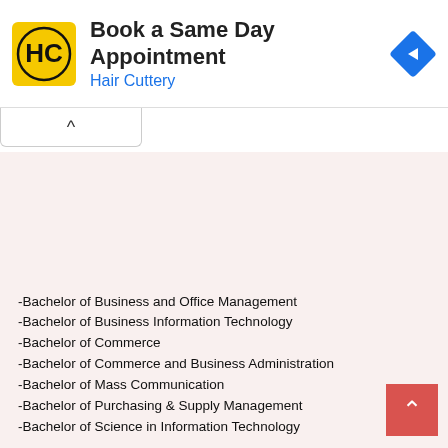[Figure (other): Hair Cuttery advertisement banner with logo, 'Book a Same Day Appointment' headline, blue subtitle 'Hair Cuttery', and navigation arrow icon]
-Bachelor of Business and Office Management
-Bachelor of Business Information Technology
-Bachelor of Commerce
-Bachelor of Commerce and Business Administration
-Bachelor of Mass Communication
-Bachelor of Purchasing & Supply Management
-Bachelor of Science in Information Technology